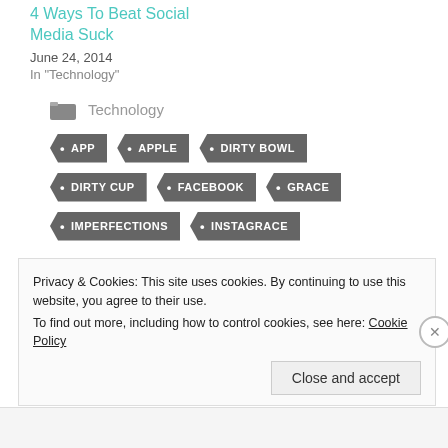4 Ways To Beat Social Media Suck
June 24, 2014
In "Technology"
Technology
APP
APPLE
DIRTY BOWL
DIRTY CUP
FACEBOOK
GRACE
IMPERFECTIONS
INSTAGRACE
Privacy & Cookies: This site uses cookies. By continuing to use this website, you agree to their use.
To find out more, including how to control cookies, see here: Cookie Policy
Close and accept